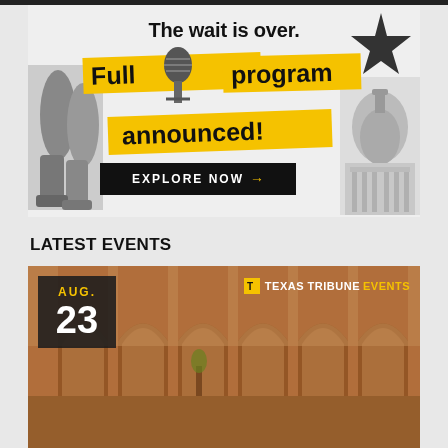[Figure (infographic): Advertisement banner: 'The wait is over. Full program announced! EXPLORE NOW →' with yellow highlighted text bands, cowboy boots, microphone, Texas star, and Capitol building collage on light grey background.]
LATEST EVENTS
[Figure (photo): Event card showing a brick arcade/archway corridor (Adobe-style architecture), with a date box showing AUG. 23 in dark background with yellow month text and white day number, and a Texas Tribune Events badge in the top right corner.]